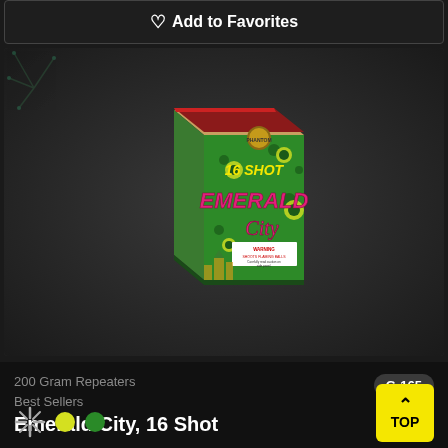Add to Favorites
[Figure (photo): Product photo of Emerald City 16 Shot fireworks box. Green box with yellow and pink/red lettering showing '16 SHOT EMERALD CITY' with Phantom Fireworks branding and a warning label.]
200 Gram Repeaters
Best Sellers
G-165
Emerald City, 16 Shot